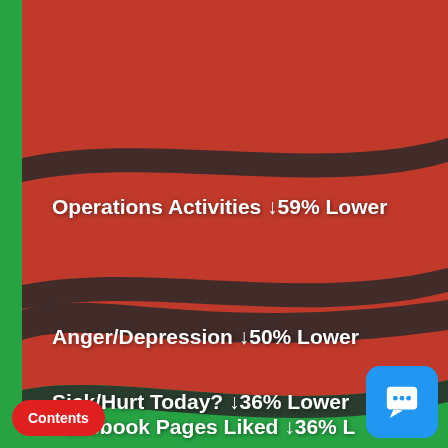[Figure (infographic): Wavy band infographic showing statistics with red and green bands. Four metrics listed: Operations Activities ↓59% Lower, Anger/Depression ↓50% Lower, Sick/Hurt Today? ↓36% Lower, Facebook Pages Liked ↓36% Lower (partially cut off). Green left sidebar and green band at bottom right area.]
Operations Activities ↓59% Lower
Anger/Depression ↓50% Lower
Sick/Hurt Today? ↓36% Lower
Facebook Pages Liked ↓36% L…
Contents